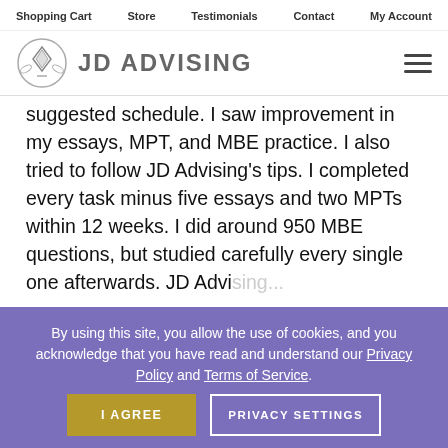Shopping Cart   Store   Testimonials   Contact   My Account
[Figure (logo): JD Advising logo with diploma/book icon and text 'JD ADVISING']
suggested schedule. I saw improvement in my essays, MPT, and MBE practice. I also tried to follow JD Advising's tips. I completed every task minus five essays and two MPTs within 12 weeks. I did around 950 MBE questions, but studied carefully every single one afterwards. JD Advising...
By using this site, you allow the use of cookies, and you acknowledge that you have read and understand our Privacy Policy and Terms of Service.
I AGREE   PRIVACY SETTINGS